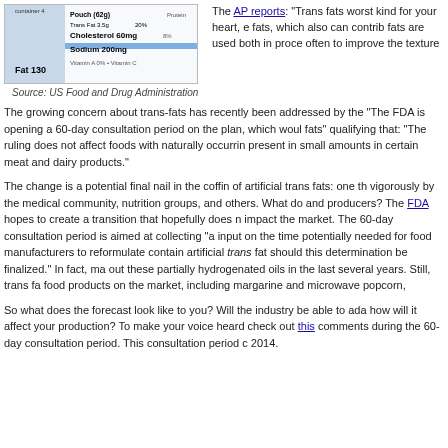[Figure (photo): Close-up photo of a nutrition facts label showing Trans Fat 3.5g, Cholesterol 60mg, Sodium 200mg, Fat 130, and other nutritional information.]
Source: US Food and Drug Administration
The AP reports: “Trans fats worst kind for your heart, e fats, which also can contrib fats are used both in proce often to improve the texture
The growing concern about trans-fats has recently been addressed by the “The FDA is opening a 60-day consultation period on the plan, which woul fats” qualifying that: “The ruling does not affect foods with naturally occurrin present in small amounts in certain meat and dairy products.”
The change is a potential final nail in the coffin of artificial trans fats: one th vigorously by the medical community, nutrition groups, and others. What do and producers? The FDA hopes to create a transition that hopefully does n impact the market. The 60-day consultation period is aimed at collecting “a input on the time potentially needed for food manufacturers to reformulate contain artificial trans fat should this determination be finalized.” In fact, ma out these partially hydrogenated oils in the last several years. Still, trans fa food products on the market, including margarine and microwave popcorn,
So what does the forecast look like to you? Will the industry be able to ada how will it affect your production? To make your voice heard check out this comments during the 60-day consultation period. This consultation period c 2014.